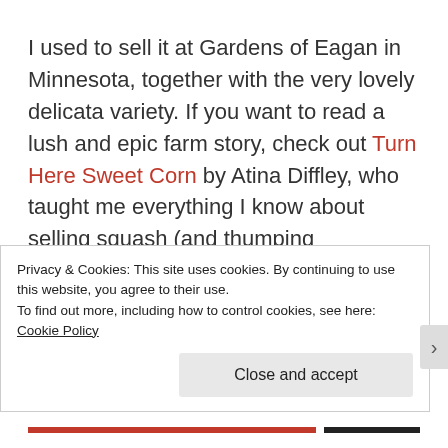I used to sell it at Gardens of Eagan in Minnesota, together with the very lovely delicata variety. If you want to read a lush and epic farm story, check out Turn Here Sweet Corn by Atina Diffley, who taught me everything I know about selling squash (and thumping watermelons, and feeling for worms
Privacy & Cookies: This site uses cookies. By continuing to use this website, you agree to their use.
To find out more, including how to control cookies, see here: Cookie Policy
Close and accept